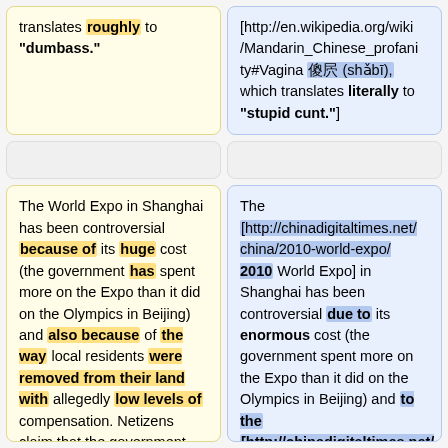translates roughly to "dumbass."
[http://en.wikipedia.org/wiki/Mandarin_Chinese_profanity#Vagina 傻屄 (shǎbī), which translates literally to "stupid cunt."]
The World Expo in Shanghai has been controversial because of its huge cost (the government has spent more on the Expo than it did on the Olympics in Beijing) and also because of the way local residents were removed from their land with allegedly low levels of compensation. Netizens claim that the government will profit greatly by
The [http://chinadigitaltimes.net/china/2010-world-expo/2010 World Expo] in Shanghai has been controversial due to its enormous cost (the government spent more on the Expo than it did on the Olympics in Beijing) and to the [http://chinadigitaltimes.net/2006/04/shanghai-defends-